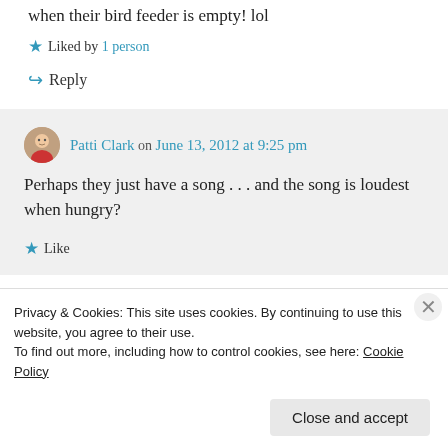when their bird feeder is empty! lol
★ Liked by 1 person
↪ Reply
Patti Clark on June 13, 2012 at 9:25 pm
Perhaps they just have a song . . . and the song is loudest when hungry?
★ Like
Privacy & Cookies: This site uses cookies. By continuing to use this website, you agree to their use. To find out more, including how to control cookies, see here: Cookie Policy
Close and accept